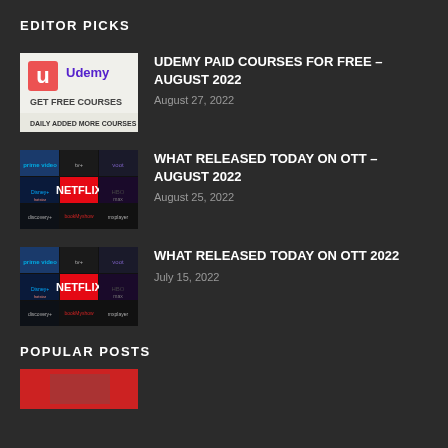EDITOR PICKS
[Figure (photo): Udemy Get Free Courses – Daily Added More Courses thumbnail]
UDEMY PAID COURSES FOR FREE – AUGUST 2022
August 27, 2022
[Figure (photo): OTT platforms grid thumbnail showing Netflix, Prime Video, Apple TV, Voot, Disney+, Hotstar, HBO Max, BookMyShow, discovery+, SonyLIV, Alt Balaji]
WHAT RELEASED TODAY ON OTT – AUGUST 2022
August 25, 2022
[Figure (photo): OTT platforms grid thumbnail showing Netflix, Prime Video, Apple TV, Voot, Disney+, Hotstar, HBO Max, BookMyShow, discovery+, SonyLIV, Alt Balaji]
WHAT RELEASED TODAY ON OTT 2022
July 15, 2022
POPULAR POSTS
[Figure (photo): Partial thumbnail image at bottom]